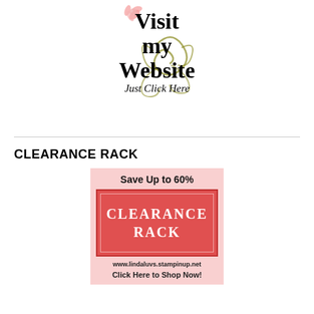[Figure (illustration): Decorative floral/scroll illustration with text 'Visit my Website Just Click Here' centered at top of page]
CLEARANCE RACK
[Figure (infographic): Clearance Rack promotional banner showing 'Save Up to 60%' with red box containing 'CLEARANCE RACK' text, URL www.lindaluvs.stampinup.net and 'Click Here to Shop Now!']